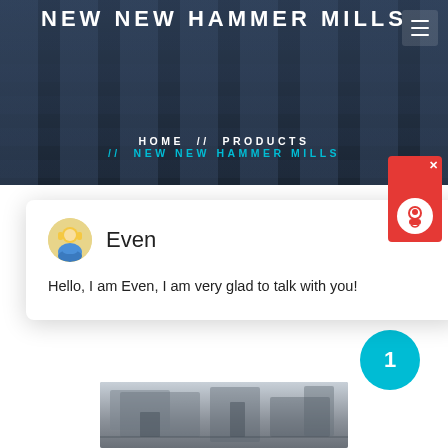NEW NEW HAMMER MILLS
HOME // PRODUCTS // NEW NEW HAMMER MILLS
[Figure (screenshot): Chat widget with avatar of agent named Even, message: Hello, I am Even, I am very glad to talk with you!]
[Figure (photo): Industrial hammer mill machinery in a factory setting]
1